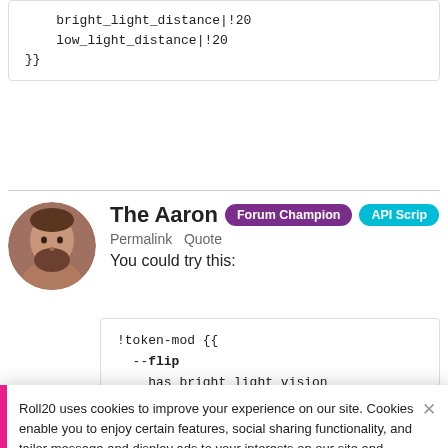[Figure (screenshot): Code block showing bright_light_distance|!20, low_light_distance|!20, }}]
The Aaron   Forum Champion   API Scrip...
Permalink  Quote
You could try this:
[Figure (screenshot): Code block: !token-mod {{ --flip has_bright_light_vision]
Roll20 uses cookies to improve your experience on our site. Cookies enable you to enjoy certain features, social sharing functionality, and tailor message and display ads to your interests on our site and others. They also help us understand how our site is being used. By continuing to use our site, you consent to our use of cookies. Update your cookie preferences here.
I tend to prefer using a Roll Query to be prompt